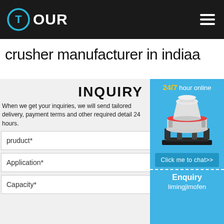[Figure (logo): T OUR logo with circular T icon on dark header background]
crusher manufacturer in indiaa
INQUIRY
When we get your inquiries, we will send tailored delivery, payment terms and other required detail 24 hours.
pruduct*
Application*
Capacity*
[Figure (photo): Cone crusher machine with blue background sidebar showing 24/7 hour online text, Click me to chat>> button, Enquiry section and limingjlmofen text]